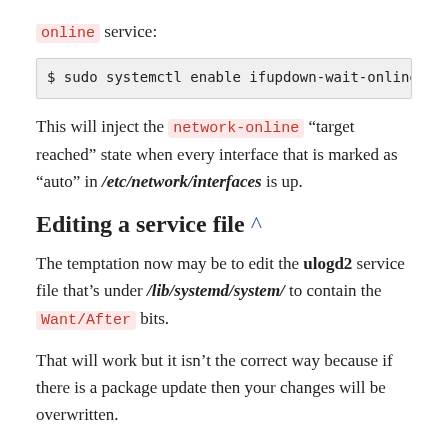online service:
$ sudo systemctl enable ifupdown-wait-online.s
This will inject the network-online “target reached” state when every interface that is marked as “auto” in /etc/network/interfaces is up.
Editing a service file ^
The temptation now may be to edit the ulogd2 service file that’s under /lib/systemd/system/ to contain the Want/After bits.
That will work but it isn’t the correct way because if there is a package update then your changes will be overwritten.
A better way is to place a new service file into